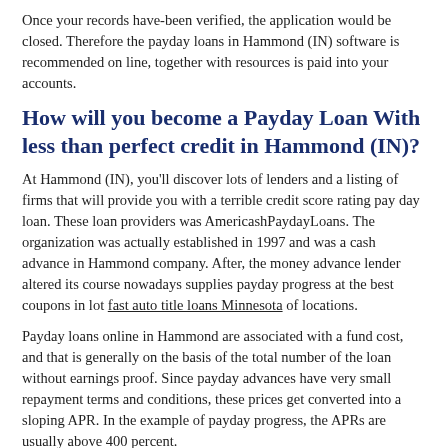Once your records have-been verified, the application would be closed. Therefore the payday loans in Hammond (IN) software is recommended on line, together with resources is paid into your accounts.
How will you become a Payday Loan With less than perfect credit in Hammond (IN)?
At Hammond (IN), you'll discover lots of lenders and a listing of firms that will provide you with a terrible credit score rating pay day loan. These loan providers was AmericashPaydayLoans. The organization was actually established in 1997 and was a cash advance in Hammond company. After, the money advance lender altered its course nowadays supplies payday progress at the best coupons in lot fast auto title loans Minnesota of locations.
Payday loans online in Hammond are associated with a fund cost, and that is generally on the basis of the total number of the loan without earnings proof. Since payday advances have very small repayment terms and conditions, these prices get converted into a sloping APR. In the example of payday progress, the APRs are usually above 400 percent.